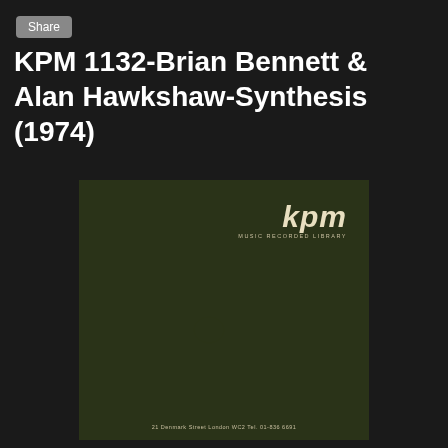Share
KPM 1132-Brian Bennett & Alan Hawkshaw-Synthesis (1974)
[Figure (photo): Album cover for KPM 1132 Synthesis (1974) by Brian Bennett and Alan Hawkshaw. Dark olive/green cover with KPM Music Recorded Library logo in top right corner in cream/beige lettering. Address at bottom: 21 Denmark Street London WC2 Tel. 01-836 6691]